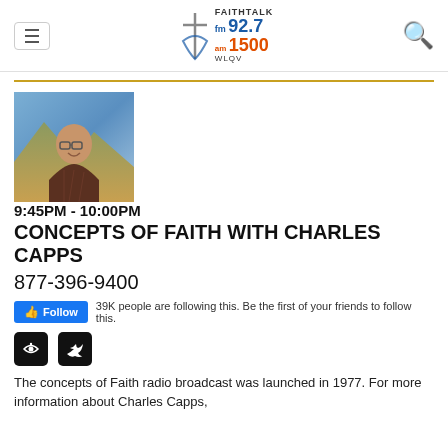[Figure (logo): FaithTalk FM 92.7 AM 1500 WLQV radio station logo with cross icon]
[Figure (photo): Headshot of Charles Capps, an older bald man with glasses and a plaid shirt, smiling outdoors with mountains in background]
9:45PM - 10:00PM
CONCEPTS OF FAITH WITH CHARLES CAPPS
877-396-9400
39K people are following this. Be the first of your friends to follow this.
The concepts of Faith radio broadcast was launched in 1977. For more information about Charles Capps,